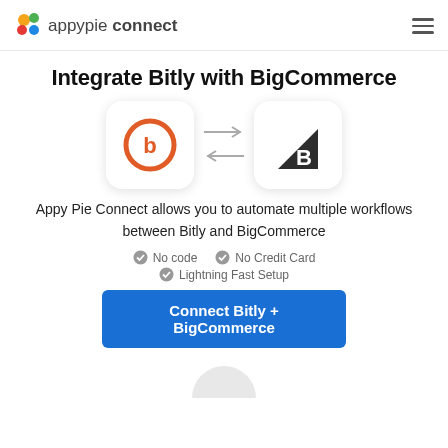appypie connect
Integrate Bitly with BigCommerce
[Figure (logo): Two app logos: Bitly (orange circular b icon) and BigCommerce (dark triangle with B), connected by bidirectional arrows]
Appy Pie Connect allows you to automate multiple workflows between Bitly and BigCommerce
No code
No Credit Card
Lightning Fast Setup
Connect Bitly + BigCommerce